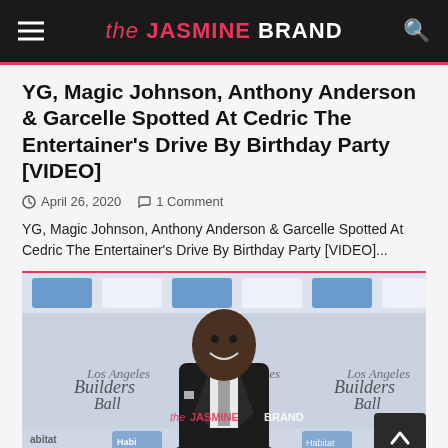the JASMINE BRAND
YG, Magic Johnson, Anthony Anderson & Garcelle Spotted At Cedric The Entertainer's Drive By Birthday Party [VIDEO]
April 26, 2020   1 Comment
YG, Magic Johnson, Anthony Anderson & Garcelle Spotted At Cedric The Entertainer's Drive By Birthday Party [VIDEO]...
[Figure (photo): Man in dark suit smiling in front of Habitat for Humanity and Los Angeles Builders Ball step-and-repeat backdrop. The Jasmine Brand watermark visible on photo.]